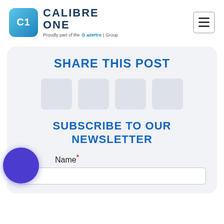[Figure (logo): Calibre One logo with C1 icon in blue gradient rounded square, text CALIBRE ONE, and tagline 'Proudly part of the azertro Group']
[Figure (illustration): Hamburger menu icon in a rounded rectangle border]
SHARE THIS POST
[Figure (illustration): Four placeholder social media share button boxes in a row]
SUBSCRIBE TO OUR NEWSLETTER
[Figure (illustration): Blue/purple circle chat or cookie widget in lower left]
Name*
[Figure (illustration): Empty text input field for Name]